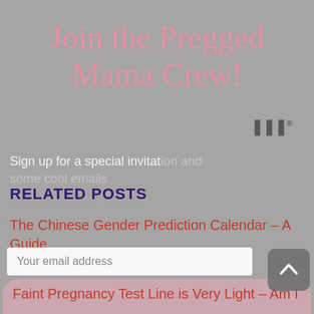Join the Pregged Mama Crew!
Sign up for a special invitation and some cool emails
RELATED POSTS
The Chinese Gender Prediction Calendar – A Guide
Your email address
Faint Pregnancy Test Line is Very Light – Am I Pregnant or Not?
We won't send you spam. Unsubscribe at any time.
7 Remarkable Facts About Baby Eye Color